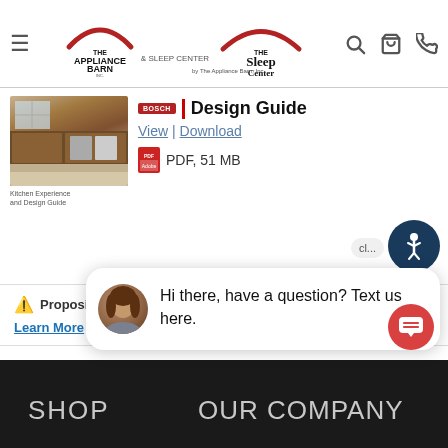[Figure (logo): The Appliance Barn Inc. & Sleep Center logo and The Sleep Center by The Appliance Barn Inc. logo in header navigation bar with hamburger menu, search, cart, and phone icons]
Design Guide
[Figure (photo): Thumbnail image of kitchen showing dark wood cabinets with built-in appliances]
Kitchen Experience and Design Guide
View | Download
PDF, 51 MB
[Figure (other): Accessibility icon button (blue circle with person/wheelchair symbol)]
cl...
⚠ Proposition 65
Learn More
[Figure (photo): Chat widget showing avatar photo of woman with brown hair and speech bubble saying: Hi there, have a question? Text us here.]
Hi there, have a question? Text us here.
SHOP
OUR COMPANY